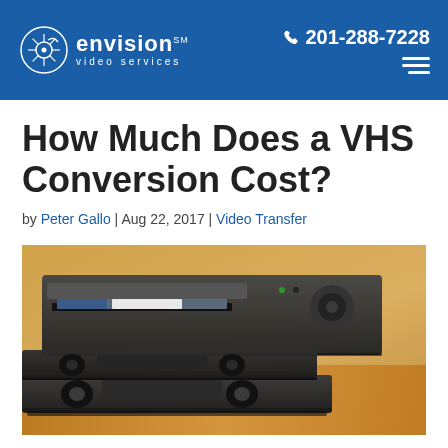envision video services | 201-288-7228
How Much Does a VHS Conversion Cost?
by Peter Gallo | Aug 22, 2017 | Video Transfer
[Figure (photo): Stack of VHS cassette tapes in front of a VHS player, on a wooden surface with warm background lighting.]